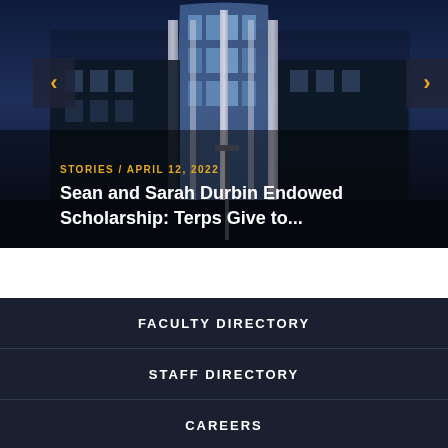[Figure (photo): University building at night with glass facade illuminated in blue/purple light, showing modern architecture with curved glass tower]
STORIES / APRIL 12, 2022
Sean and Sarah Durbin Endowed Scholarship: Terps Give to...
FACULTY DIRECTORY
STAFF DIRECTORY
CAREERS